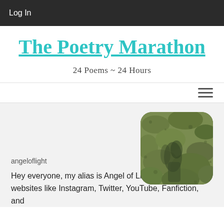Log In
The Poetry Marathon
24 Poems ~ 24 Hours
[Figure (photo): Profile photo showing green mossy ground or plants, rounded square corners]
angeloflight
Hey everyone, my alias is Angel of Light. I'm on various websites like Instagram, Twitter, YouTube, Fanfiction, and